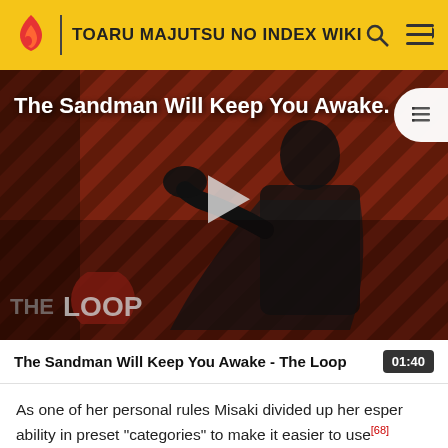TOARU MAJUTSU NO INDEX WIKI
[Figure (screenshot): Video thumbnail for 'The Sandman Will Keep You Awake - The Loop' showing a dark-caped figure against a red diagonal striped background with THE LOOP branding and a play button overlay]
The Sandman Will Keep You Awake - The Loop  01:40
As one of her personal rules Misaki divided up her esper ability in preset "categories" to make it easier to use[68] These "categories" are often used for specifics